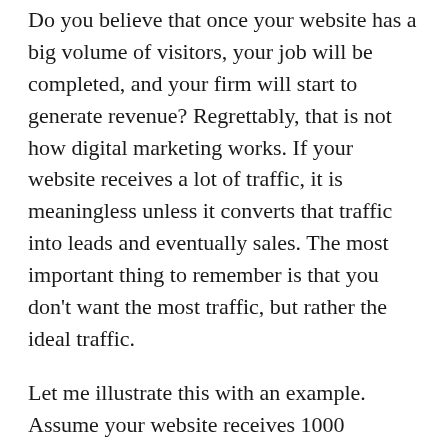Do you believe that once your website has a big volume of visitors, your job will be completed, and your firm will start to generate revenue? Regrettably, that is not how digital marketing works. If your website receives a lot of traffic, it is meaningless unless it converts that traffic into leads and eventually sales. The most important thing to remember is that you don't want the most traffic, but rather the ideal traffic.
Let me illustrate this with an example. Assume your website receives 1000 visitors, but only one or two of them turn into paying customers. Assume, on the other hand, that your website only had 100 visits, but 90 percent of them purchased your product/services,